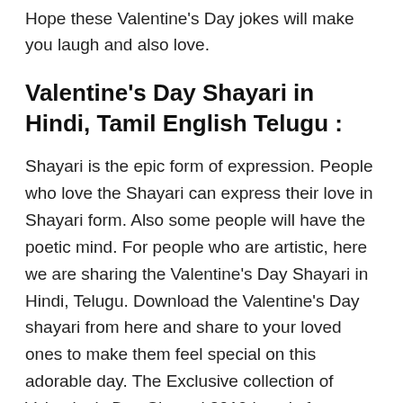Hope these Valentine's Day jokes will make you laugh and also love.
Valentine's Day Shayari in Hindi, Tamil English Telugu :
Shayari is the epic form of expression. People who love the Shayari can express their love in Shayari form. Also some people will have the poetic mind. For people who are artistic, here we are sharing the Valentine's Day Shayari in Hindi, Telugu. Download the Valentine's Day shayari from here and share to your loved ones to make them feel special on this adorable day. The Exclusive collection of Valentine's Day Shayari 2019 is only for